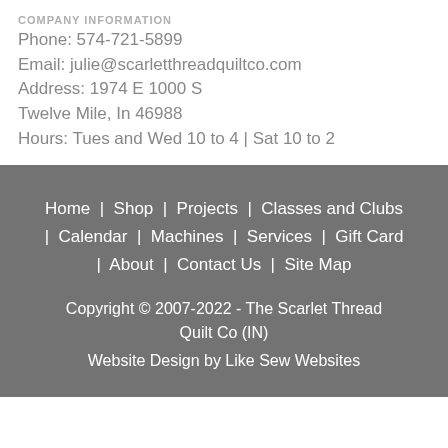COMPANY INFORMATION
Phone: 574-721-5899
Email: julie@scarletthreadquiltco.com
Address: 1974 E 1000 S
Twelve Mile, In 46988
Hours: Tues and Wed 10 to 4 | Sat 10 to 2
Home  |  Shop  |  Projects  |  Classes and Clubs  |  Calendar  |  Machines  |  Services  |  Gift Card  |  About  |  Contact Us  |  Site Map
Copyright © 2007-2022 - The Scarlet Thread Quilt Co (IN)
Website Design by Like Sew Websites